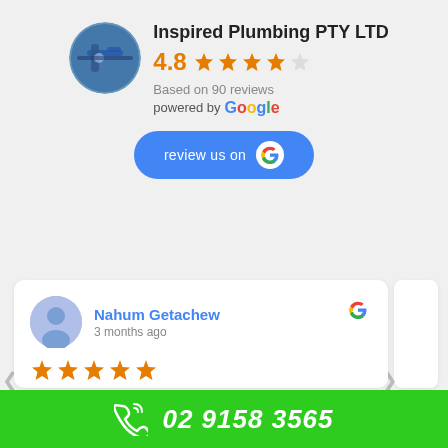[Figure (logo): Inspired Plumbing PTY LTD circular logo with plumbing equipment]
Inspired Plumbing PTY LTD
4.8 ★★★★½ Based on 90 reviews powered by Google
[Figure (other): review us on Google button]
Nahum Getachew
3 months ago
[Figure (other): 5 star rating]
Nick was very professional and was able to easily spot the leak problem that was caused and fixed it in no time. I'm happy with the work that he did! I
02 9158 3565